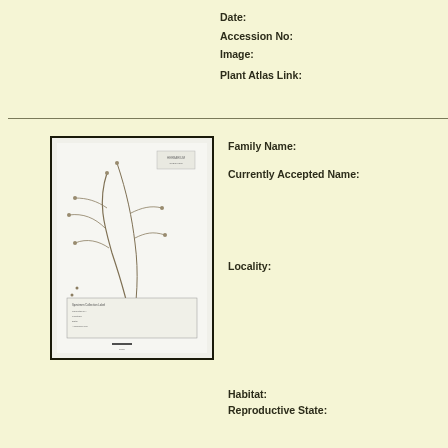Date:
Accession No:
Image:
Plant Atlas Link:
[Figure (photo): Herbarium specimen photograph showing a dried plant with slender branching stems and small leaves/flowers mounted on white paper, with collection labels at bottom]
Family Name:
Currently Accepted Name:
Locality:
Habitat:
Reproductive State: